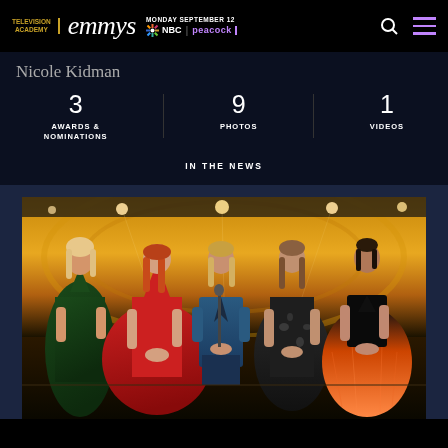Television Academy emmys MONDAY SEPTEMBER 12 NBC | peacock
Nicole Kidman
3 AWARDS & NOMINATIONS
9 PHOTOS
1 VIDEOS
IN THE NEWS
[Figure (photo): Five women standing on an Emmy Awards stage. From left to right: woman in dark green velvet gown, woman in red ballgown (Nicole Kidman), woman in blue suit, woman in black floral gown, woman in black and orange gradient gown. The stage has a golden Emmy statue backdrop.]